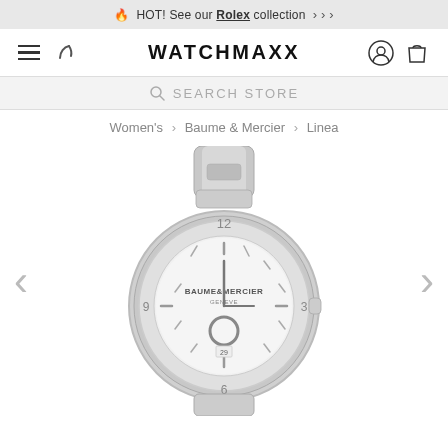🔥 HOT! See our Rolex collection >>>
[Figure (logo): WATCHMAXX logo with hamburger menu, phone icon, user icon, and shopping bag icon navigation bar]
SEARCH STORE
Women's > Baume & Mercier > Linea
[Figure (photo): Baume & Mercier Linea women's stainless steel watch with silver dial, bracelet band, showing BAUME&MERCIER GENEVE text on dial with date window]